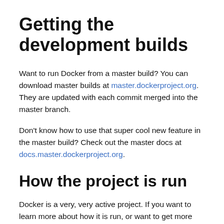Getting the development builds
Want to run Docker from a master build? You can download master builds at master.dockerproject.org. They are updated with each commit merged into the master branch.
Don't know how to use that super cool new feature in the master build? Check out the master docs at docs.master.dockerproject.org.
How the project is run
Docker is a very, very active project. If you want to learn more about how it is run, or want to get more involved, the best place to start is the project directory.
We are always open to suggestions on process...